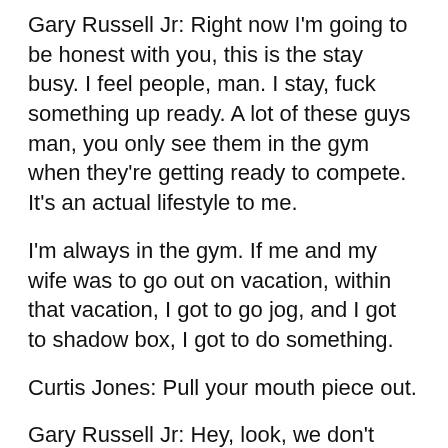Gary Russell Jr: Right now I'm going to be honest with you, this is the stay busy. I feel people, man. I stay, fuck something up ready. A lot of these guys man, you only see them in the gym when they're getting ready to compete. It's an actual lifestyle to me.
I'm always in the gym. If me and my wife was to go out on vacation, within that vacation, I got to go jog, and I got to shadow box, I got to do something.
Curtis Jones: Pull your mouth piece out.
Gary Russell Jr: Hey, look, we don't even wear mouth pieces in the gym. The only time I wear a mouth piece is in a fight.
I ain't made that. That is the OG word for where I don't remember last time I had a mouth piece on, until I actually got in the ring.